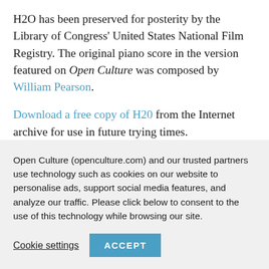H2O has been preserved for posterity by the Library of Congress' United States National Film Registry. The original piano score in the version featured on Open Culture was composed by William Pearson.
Download a free copy of H20 from the Internet archive for use in future trying times.
Steiner's films will be added to our collection, 4,000+ Free Movies Online: Great Classics, Indies, Noir...
Open Culture (openculture.com) and our trusted partners use technology such as cookies on our website to personalise ads, support social media features, and analyze our traffic. Please click below to consent to the use of this technology while browsing our site.
Cookie settings   ACCEPT